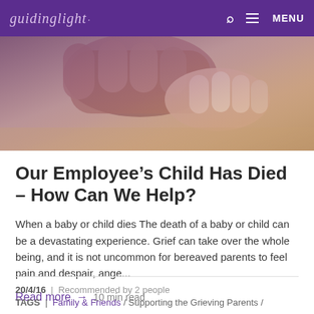guidinglight  MENU
[Figure (photo): Close-up photo of adult and baby hands touching, warm beige/tan tones]
Our Employee’s Child Has Died – How Can We Help?
When a baby or child dies The death of a baby or child can be a devastating experience. Grief can take over the whole being, and it is not uncommon for bereaved parents to feel pain and despair, ange...
Read more →  10 min read
20/4/16  |  Recommended by 2 people
TAGS  |  Family & Friends / Supporting the Grieving Parents /